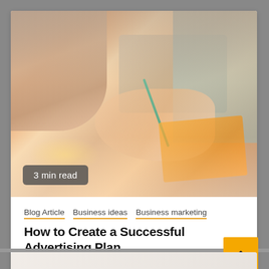[Figure (photo): People at a meeting table, one person writing with a pen, others with a laptop in the background. Warm tones with orange papers visible.]
3 min read
Blog Article   Business ideas   Business marketing
How to Create a Successful Advertising Plan
2 months ago   Adiantku